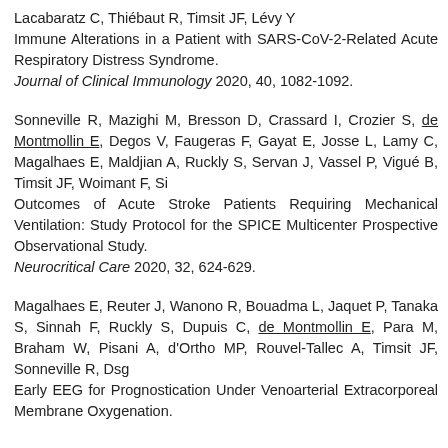Lacabaratz C, Thiébaut R, Timsit JF, Lévy Y
Immune Alterations in a Patient with SARS-CoV-2-Related Acute Respiratory Distress Syndrome.
Journal of Clinical Immunology 2020, 40, 1082-1092.
Sonneville R, Mazighi M, Bresson D, Crassard I, Crozier S, de Montmollin E, Degos V, Faugeras F, Gayat E, Josse L, Lamy C, Magalhaes E, Maldjian A, Ruckly S, Servan J, Vassel P, Vigué B, Timsit JF, Woimant F, Si
Outcomes of Acute Stroke Patients Requiring Mechanical Ventilation: Study Protocol for the SPICE Multicenter Prospective Observational Study.
Neurocritical Care 2020, 32, 624-629.
Magalhaes E, Reuter J, Wanono R, Bouadma L, Jaquet P, Tanaka S, Sinnah F, Ruckly S, Dupuis C, de Montmollin E, Para M, Braham W, Pisani A, d'Ortho MP, Rouvel-Tallec A, Timsit JF, Sonneville R, Dsg
Early EEG for Prognostication Under Venoarterial Extracorporeal Membrane Oxygenation.